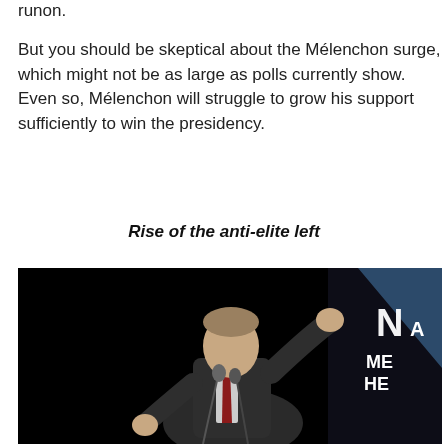runon.
But you should be skeptical about the Mélenchon surge, which might not be as large as polls currently show. Even so, Mélenchon will struggle to grow his support sufficiently to win the presidency.
Rise of the anti-elite left
[Figure (photo): A man in a dark suit with a red tie speaking at a microphone on a stage with a dark background and a blue graphic element visible in the upper right corner.]